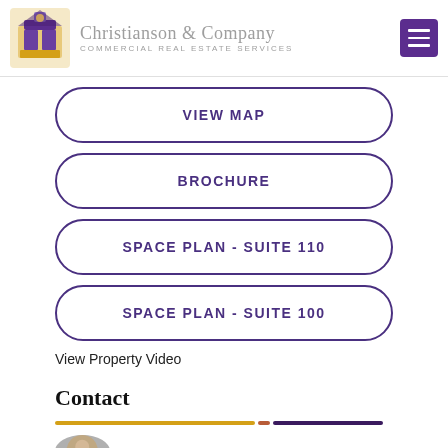Christianson & Company COMMERCIAL REAL ESTATE SERVICES
VIEW MAP
BROCHURE
SPACE PLAN - SUITE 110
SPACE PLAN - SUITE 100
View Property Video
Contact